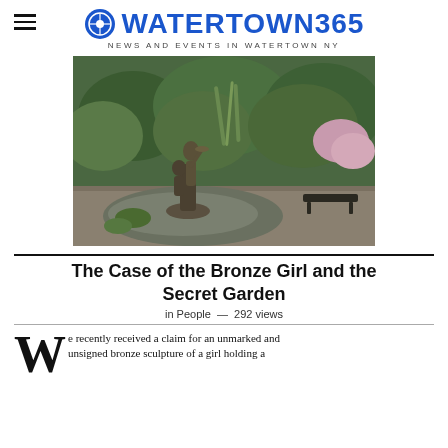WATERTOWN365 — NEWS AND EVENTS IN WATERTOWN NY
[Figure (photo): Bronze sculpture of a girl holding a bowl in a garden with a pond, greenery, and benches in the background.]
The Case of the Bronze Girl and the Secret Garden
in People — 292 views
We recently received a claim for an unmarked and unsigned bronze sculpture of a girl holding a